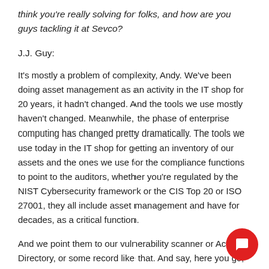think you're really solving for folks, and how are you guys tackling it at Sevco?
J.J. Guy:
It's mostly a problem of complexity, Andy. We've been doing asset management as an activity in the IT shop for 20 years, it hadn't changed. And the tools we use mostly haven't changed. Meanwhile, the phase of enterprise computing has changed pretty dramatically. The tools we use today in the IT shop for getting an inventory of our assets and the ones we use for the compliance functions to point to the auditors, whether you're regulated by the NIST Cybersecurity framework or the CIS Top 20 or ISO 27001, they all include asset management and have for decades, as a critical function.
And we point them to our vulnerability scanner or Active Directory, or some record like that. And say, here you go, we've